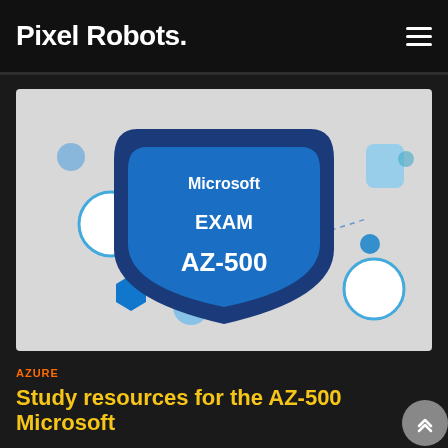Pixel Robots.
[Figure (illustration): Microsoft Exam AZ-500 badge graphic on a light grey background with blue geometric shapes and dotted lines connecting circles and hexagons.]
AZURE
Study resources for the AZ-500 Microsoft